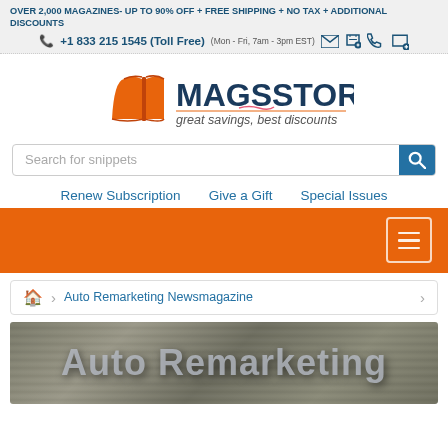OVER 2,000 MAGAZINES- UP TO 90% OFF + FREE SHIPPING + NO TAX + ADDITIONAL DISCOUNTS
+1 833 215 1545 (Toll Free) (Mon - Fri, 7am - 3pm EST)
[Figure (logo): MAGSSTORE logo with open book icon and tagline 'great savings, best discounts']
Search for snippets
Renew Subscription   Give a Gift   Special Issues
[Figure (other): Orange navigation banner with hamburger menu icon]
Auto Remarketing Newsmagazine
[Figure (photo): Auto Remarketing magazine cover image with large text 'Auto Remarketing' on a textured background]